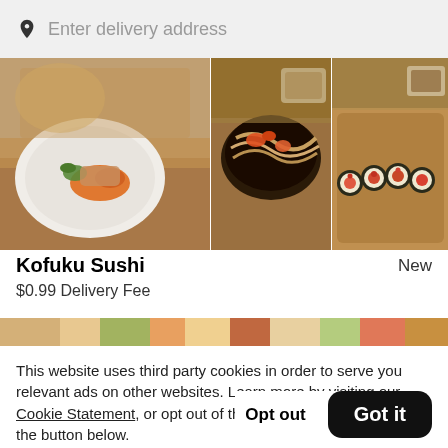Enter delivery address
[Figure (photo): Food photos collage showing Japanese dishes: a plated dish with sauce on the left, noodle bowl in the middle, and sushi rolls on the right]
Kofuku Sushi
New
$0.99 Delivery Fee
[Figure (photo): A narrow horizontal strip of colorful food photos]
This website uses third party cookies in order to serve you relevant ads on other websites. Learn more by visiting our Cookie Statement, or opt out of third party ad cookies using the button below.
Opt out
Got it